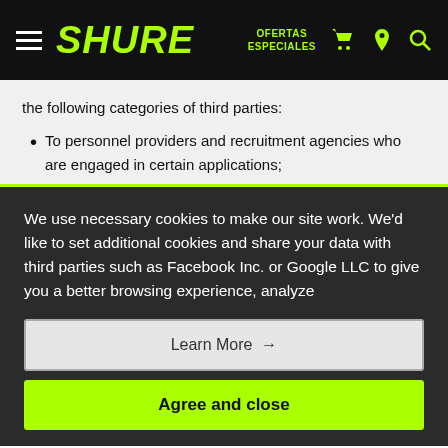SHURE — OFERTAS ESPECIALES
the following categories of third parties:
To personnel providers and recruitment agencies who are engaged in certain applications;
We use necessary cookies to make our site work. We'd like to set additional cookies and share your data with third parties such as Facebook Inc. or Google LLC to give you a better browsing experience, analyze
Learn More →
Agree and close